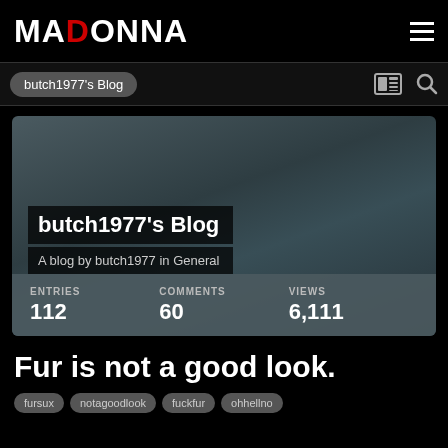MADONNA
butch1977's Blog
[Figure (screenshot): Blog hero image with dark teal/grey gradient background showing butch1977's Blog title and subtitle 'A blog by butch1977 in General', with stats bar showing ENTRIES 112, COMMENTS 60, VIEWS 6,111]
Fur is not a good look.
fursux
notagoodlook
fuckfur
ohhellno